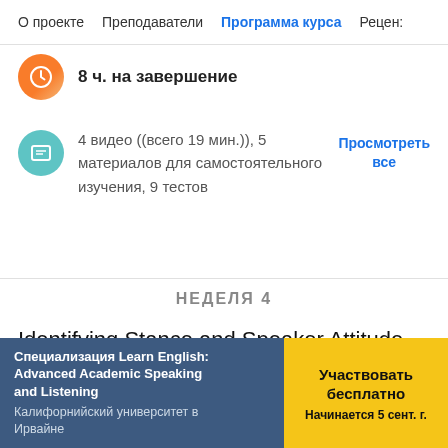О проекте   Преподаватели   Программа курса   Рецен:
8 ч. на завершение
4 видео ((всего 19 мин.)), 5 материалов для самостоятельного изучения, 9 тестов
Просмотреть все
НЕДЕЛЯ 4
Identifying Stance and Speaker Attitude
Специализация Learn English: Advanced Academic Speaking and Listening
Калифорнийский университет в Ирвайне
Участвовать бесплатно
Начинается 5 сент. г.